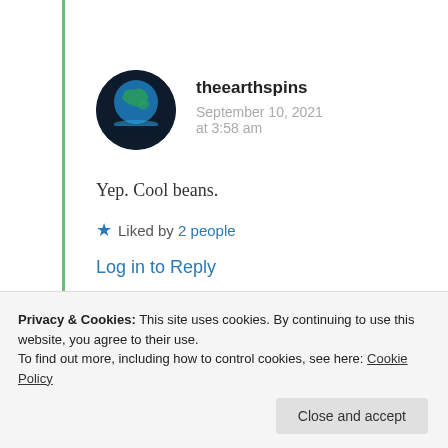theearthspins
September 10, 2021 at 3:58 am
Yep. Cool beans.
★ Liked by 2 people
Log in to Reply
Privacy & Cookies: This site uses cookies. By continuing to use this website, you agree to their use.
To find out more, including how to control cookies, see here: Cookie Policy
Close and accept
September 10, 2021 at 7:56 am